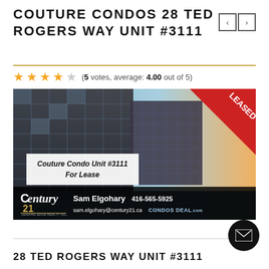COUTURE CONDOS 28 TED ROGERS WAY UNIT #3111
(5 votes, average: 4.00 out of 5)
[Figure (photo): Exterior photo of Couture Condo building with glass facade, with a red LEASED ribbon in the top-right corner, an overlay box reading 'Couture Condo Unit #3111 For Lease', and a Century 21 footer bar with Sam Elgohary, 416-565-5925, sam.elgohary@century21.ca, CONDOS DEAL.com]
28 TED ROGERS WAY UNIT #3111